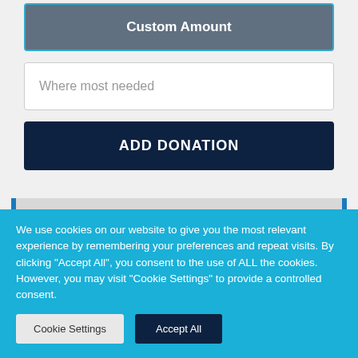Custom Amount
Where most needed
ADD DONATION
ALL OUR LITTLE RAHMAH SPONSORSHIPS HAVE A 100% DONATION POLICY
We use cookies on our website to give you the most relevant experience by remembering your preferences and repeat visits. By clicking "Accept All", you consent to the use of ALL the cookies. However, you may visit "Cookie Settings" to provide a controlled consent.
Cookie Settings
Accept All